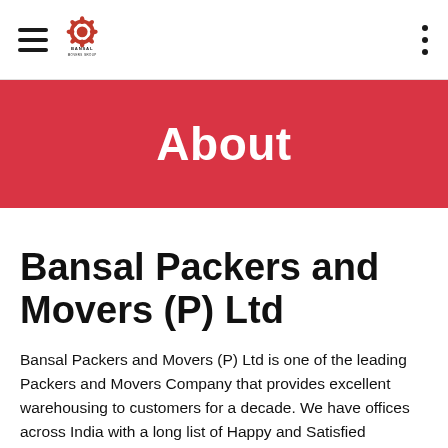Navigation bar with hamburger menu, Bansal Movers Group logo, and vertical dots menu
About
Bansal Packers and Movers (P) Ltd
Bansal Packers and Movers (P) Ltd is one of the leading Packers and Movers Company that provides excellent warehousing to customers for a decade. We have offices across India with a long list of Happy and Satisfied Clientele; our teams of experts are experienced in the packing and moving industry is ready to handle all tasks involved in a Professional manner. Right from the call